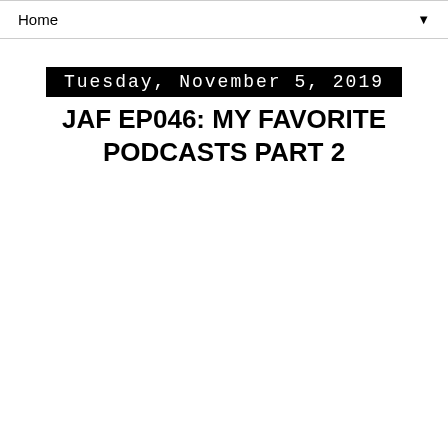Home ▼
Tuesday, November 5, 2019
JAF EP046: MY FAVORITE PODCASTS PART 2